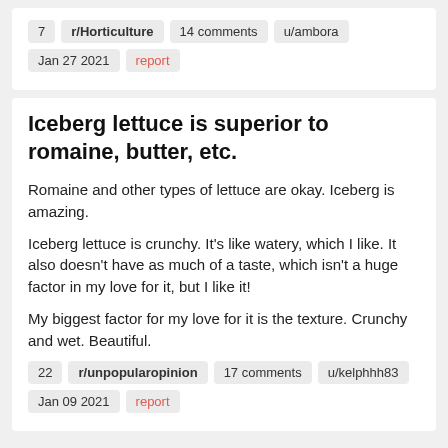7   r/Horticulture   14 comments   u/ambora
Jan 27 2021   report
Iceberg lettuce is superior to romaine, butter, etc.
Romaine and other types of lettuce are okay. Iceberg is amazing.

Iceberg lettuce is crunchy. It's like watery, which I like. It also doesn't have as much of a taste, which isn't a huge factor in my love for it, but I like it!

My biggest factor for my love for it is the texture. Crunchy and wet. Beautiful.
22   r/unpopularopinion   17 comments   u/kelphhh83
Jan 09 2021   report